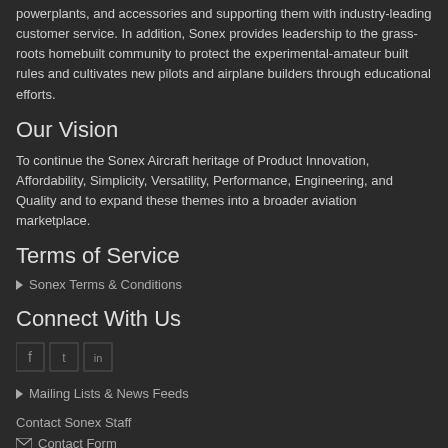powerplants, and accessories and supporting them with industry-leading customer service. In addition, Sonex provides leadership to the grass-roots homebuilt community to protect the experimental-amateur built rules and cultivates new pilots and airplane builders through educational efforts.
Our Vision
To continue the Sonex Aircraft heritage of Product Innovation, Affordability, Simplicity, Versatility, Performance, Engineering, and Quality and to expand these themes into a broader aviation marketplace.
Terms of Service
Sonex Terms & Conditions
Connect With Us
Mailing Lists & News Feeds
Contact Sonex Staff
Contact Form